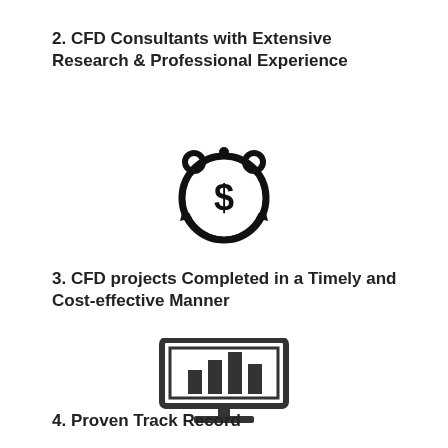2. CFD Consultants with Extensive Research & Professional Experience
[Figure (illustration): Alarm clock icon with a dollar sign and circular arrows, representing cost/time management]
3. CFD projects Completed in a Timely and Cost-effective Manner
[Figure (illustration): Computer monitor icon with a bar chart on screen, representing analytics/track record]
4. Proven Track Record